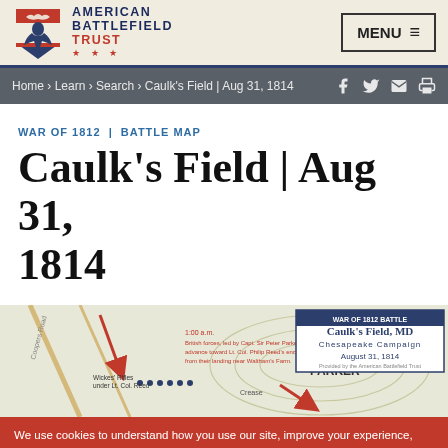AMERICAN BATTLEFIELD TRUST — MENU
Home › Learn › Search › Caulk's Field | Aug 31, 1814
WAR OF 1812 | BATTLE MAP
Caulk's Field | Aug 31, 1814
[Figure (map): Battle map of Caulk's Field, MD, Chesapeake Campaign, August 31, 1814. Shows Parker's advance, Wickes' Rifles under Lt. Col. Reed, and troop movements with red arrows.]
We use cookies to understand how you use our site, improve your experience, and personalize content. To learn more, click here. By continuing to use our site, you accept our use of cookies, Privacy Policy, and Terms of Service.
I agree
More info
Reject cookies